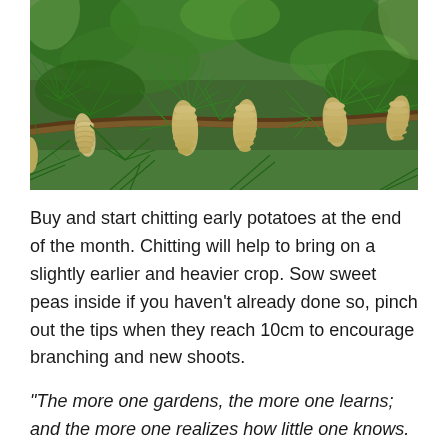[Figure (photo): Close-up photograph of pine tree branches with young pine cones (catkins/strobili) in various stages, green needles in foreground and background, natural outdoor setting.]
Buy and start chitting early potatoes at the end of the month. Chitting will help to bring on a slightly earlier and heavier crop. Sow sweet peas inside if you haven't already done so, pinch out the tips when they reach 10cm to encourage branching and new shoots.
“The more one gardens, the more one learns; and the more one realizes how little one knows. I